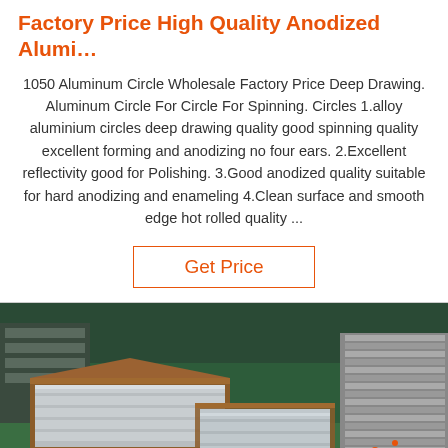Factory Price High Quality Anodized Alumi…
1050 Aluminum Circle Wholesale Factory Price Deep Drawing. Aluminum Circle For Circle For Spinning. Circles 1.alloy aluminium circles deep drawing quality good spinning quality excellent forming and anodizing no four ears. 2.Excellent reflectivity good for Polishing. 3.Good anodized quality suitable for hard anodizing and enameling 4.Clean surface and smooth edge hot rolled quality ...
Get Price
[Figure (photo): Factory floor photograph showing aluminum coils/sheets wrapped in brown kraft paper packaging, stacked in an industrial warehouse with green painted floor and yellow safety markings. Orange 'TOP' logo watermark visible in lower right.]